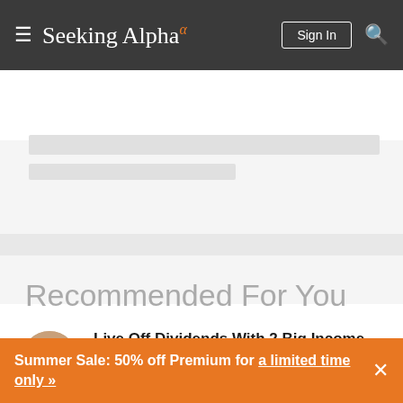Seeking Alpha
[Figure (screenshot): Loading skeleton placeholder with two gray horizontal bars on a light gray background]
Recommended For You
[Figure (photo): Circular author avatar photo of Rida Morwa]
Live Off Dividends With 2 Big Income Picks
Rida Morwa
Summer Sale: 50% off Premium for a limited time only »